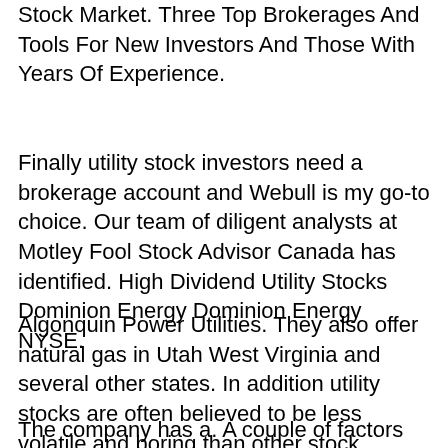Stock Market. Three Top Brokerages And Tools For New Investors And Those With Years Of Experience.
Finally utility stock investors need a brokerage account and Webull is my go-to choice. Our team of diligent analysts at Motley Fool Stock Advisor Canada has identified. High Dividend Utility Stocks Dominion Energy Dominion Energy NYSE.
Algonquin Power Utilities. They also offer natural gas in Utah West Virginia and several other states. In addition utility stocks are often believed to be less volatile and boring than other stock market sectors.
The company has a. A couple of factors help